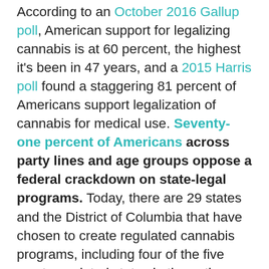According to an October 2016 Gallup poll, American support for legalizing cannabis is at 60 percent, the highest it's been in 47 years, and a 2015 Harris poll found a staggering 81 percent of Americans support legalization of cannabis for medical use. Seventy-one percent of Americans across party lines and age groups oppose a federal crackdown on state-legal programs. Today, there are 29 states and the District of Columbia that have chosen to create regulated cannabis programs, including four of the five most populated states in the nation. More than 20 percent of the U.S. population lives in states that allow adults 21 and older to legally consume cannabis, and